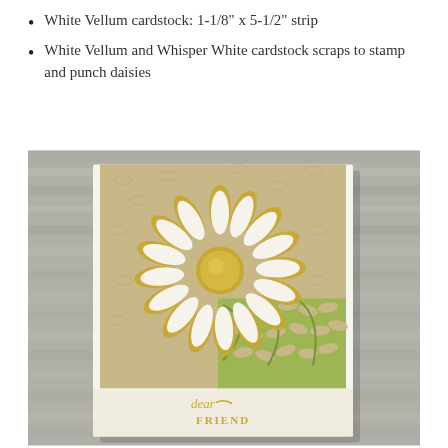White Vellum cardstock: 1-1/8" x 5-1/2" strip
White Vellum and Whisper White cardstock scraps to stamp and punch daisies
[Figure (photo): A handmade greeting card featuring a large white daisy flower with gold accents on a tan/kraft textured background with embossed leaf pattern. A green leafy die-cut border is on the lower right of the card. A cream strip at the bottom reads 'dear FRIEND' in gold script and block lettering. The card is photographed on a grey wood surface.]